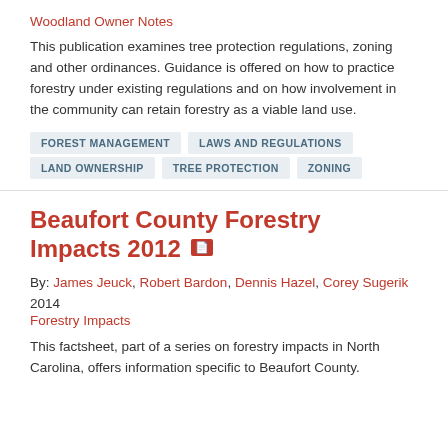Woodland Owner Notes
This publication examines tree protection regulations, zoning and other ordinances. Guidance is offered on how to practice forestry under existing regulations and on how involvement in the community can retain forestry as a viable land use.
FOREST MANAGEMENT
LAWS AND REGULATIONS
LAND OWNERSHIP
TREE PROTECTION
ZONING
Beaufort County Forestry Impacts 2012
By: James Jeuck, Robert Bardon, Dennis Hazel, Corey Sugerik
2014
Forestry Impacts
This factsheet, part of a series on forestry impacts in North Carolina, offers information specific to Beaufort County.